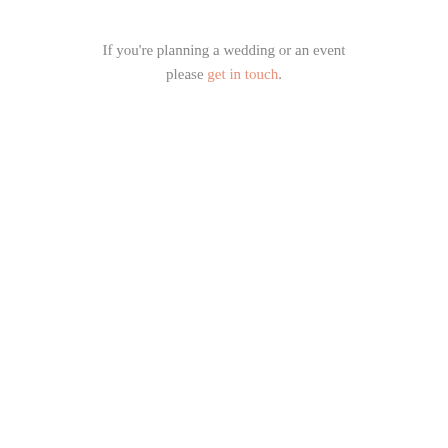If you're planning a wedding or an event please get in touch.